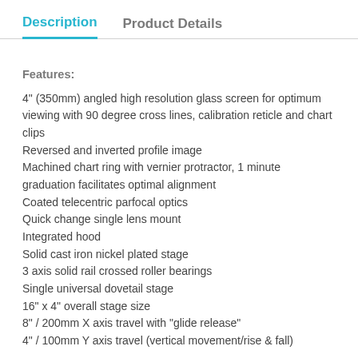Description | Product Details
Features:
4" (350mm) angled high resolution glass screen for optimum viewing with 90 degree cross lines, calibration reticle and chart clips
Reversed and inverted profile image
Machined chart ring with vernier protractor, 1 minute graduation facilitates optimal alignment
Coated telecentric parfocal optics
Quick change single lens mount
Integrated hood
Solid cast iron nickel plated stage
3 axis solid rail crossed roller bearings
Single universal dovetail stage
16" x 4" overall stage size
8" / 200mm X axis travel with "glide release"
4" / 100mm Y axis travel (vertical movement/rise & fall)